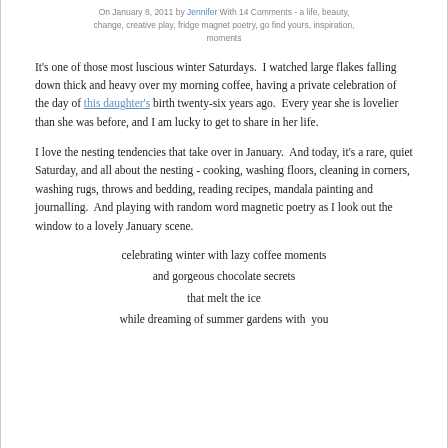On January 8, 2011 by Jennifer With 14 Comments - a life, beauty, change, creative play, fridge magnet poetry, go find yours, inspiration, moments
It's one of those most luscious winter Saturdays.  I watched large flakes falling down thick and heavy over my morning coffee, having a private celebration of the day of this daughter's birth twenty-six years ago.  Every year she is lovelier than she was before, and I am lucky to get to share in her life.
I love the nesting tendencies that take over in January.  And today, it's a rare, quiet Saturday, and all about the nesting - cooking, washing floors, cleaning in corners, washing rugs, throws and bedding, reading recipes, mandala painting and journalling.  And playing with random word magnetic poetry as I look out the window to a lovely January scene.
celebrating winter with lazy coffee moments
and gorgeous chocolate secrets
that melt the ice
while dreaming of summer gardens with  you